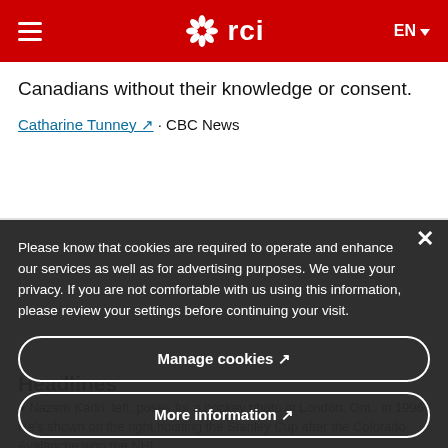RCI (Radio-Canada International) — EN
Canadians without their knowledge or consent.
Catharine Tunney · CBC News
Please know that cookies are required to operate and enhance our services as well as for advertising purposes. We value your privacy. If you are not comfortable with us using this information, please review your settings before continuing your visit.
Manage cookies ↗
More information ↗
Nazem Kadri, left, poses for a hockey photo in London, Ont., in 1996. He's shown on the right hoisting the Stanley Cup after the Colorado Avalanche won the NHL